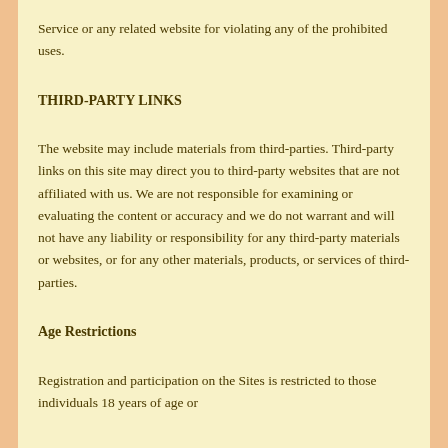Service or any related website for violating any of the prohibited uses.
THIRD-PARTY LINKS
The website may include materials from third-parties. Third-party links on this site may direct you to third-party websites that are not affiliated with us. We are not responsible for examining or evaluating the content or accuracy and we do not warrant and will not have any liability or responsibility for any third-party materials or websites, or for any other materials, products, or services of third-parties.
Age Restrictions
Registration and participation on the Sites is restricted to those individuals 18 years of age or